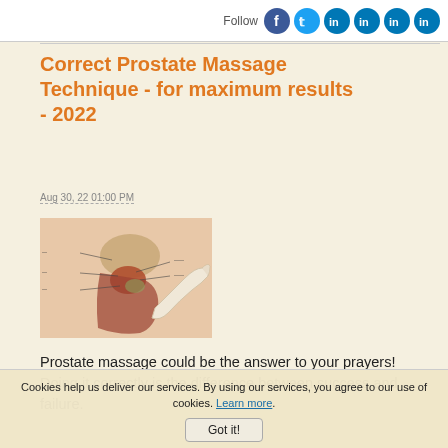Follow [social icons: Facebook, Twitter, LinkedIn, LinkedIn, LinkedIn, LinkedIn]
Correct Prostate Massage Technique - for maximum results - 2022
Aug 30, 22 01:00 PM
[Figure (illustration): Medical illustration of prostate anatomy cross-section showing a gloved finger performing prostate massage, with labeled anatomical parts]
Prostate massage could be the answer to your prayers! Doing it correctly is the difference between success and failure.
Cookies help us deliver our services. By using our services, you agree to our use of cookies. Learn more. Got it!